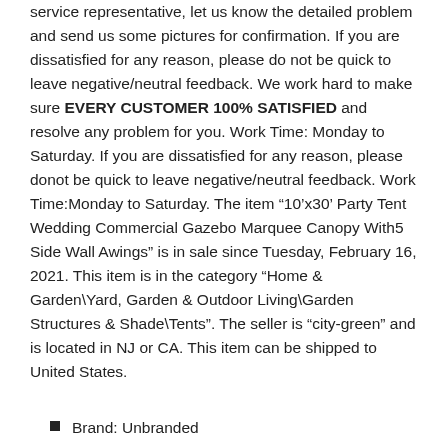service representative, let us know the detailed problem and send us some pictures for confirmation. If you are dissatisfied for any reason, please do not be quick to leave negative/neutral feedback. We work hard to make sure EVERY CUSTOMER 100% SATISFIED and resolve any problem for you. Work Time: Monday to Saturday. If you are dissatisfied for any reason, please donot be quick to leave negative/neutral feedback. Work Time:Monday to Saturday. The item “10’x30’ Party Tent Wedding Commercial Gazebo Marquee Canopy With5 Side Wall Awings” is in sale since Tuesday, February 16, 2021. This item is in the category “Home & Garden\Yard, Garden & Outdoor Living\Garden Structures & Shade\Tents”. The seller is “city-green” and is located in NJ or CA. This item can be shipped to United States.
Brand: Unbranded